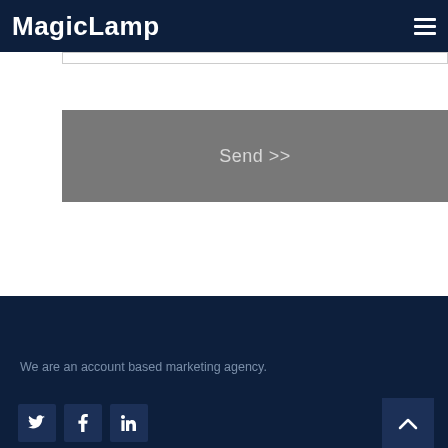MagicLamp
[Figure (screenshot): Send button area with gray background and 'Send >>' text]
We are an account based marketing agency.
Social icons: Twitter, Facebook, LinkedIn; back to top button